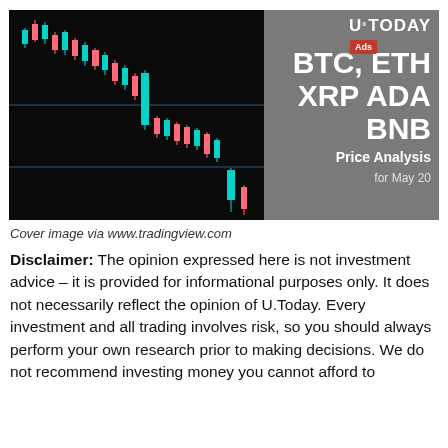[Figure (screenshot): Banner image showing a candlestick chart on the left (dark background with red and cyan candlesticks trending downward) and a gray panel on the right with U.Today logo, 'Ads' badge, and text 'BTC, ETH XRP ADA BNB Price Analysis for May 20']
Cover image via www.tradingview.com
Disclaimer: The opinion expressed here is not investment advice – it is provided for informational purposes only. It does not necessarily reflect the opinion of U.Today. Every investment and all trading involves risk, so you should always perform your own research prior to making decisions. We do not recommend investing money you cannot afford to lose.